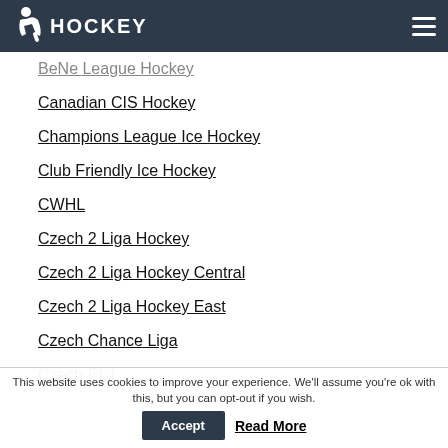HOCKEY
BeNe League Hockey
Canadian CIS Hockey
Champions League Ice Hockey
Club Friendly Ice Hockey
CWHL
Czech 2 Liga Hockey
Czech 2 Liga Hockey Central
Czech 2 Liga Hockey East
Czech Chance Liga
Czech ELJ
Czech Extraliga
Czech JLA
This website uses cookies to improve your experience. We'll assume you're ok with this, but you can opt-out if you wish.
Accept   Read More